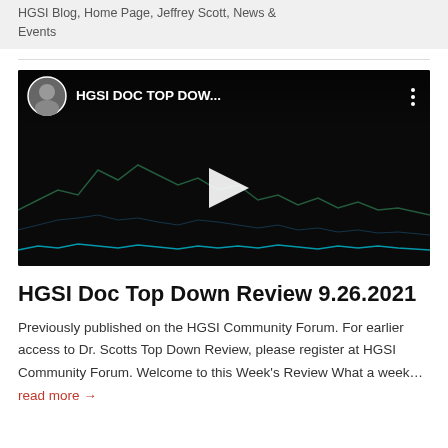HGSI Blog, Home Page, Jeffrey Scott, News & Events
[Figure (screenshot): YouTube video thumbnail showing 'HGSI DOC TOP DOW...' with a play button in center, a man's avatar in top-left, and a stock chart visualization on dark background]
HGSI Doc Top Down Review 9.26.2021
Previously published on the HGSI Community Forum. For earlier access to Dr. Scotts Top Down Review, please register at HGSI Community Forum. Welcome to this Week's Review What a week…
read more →